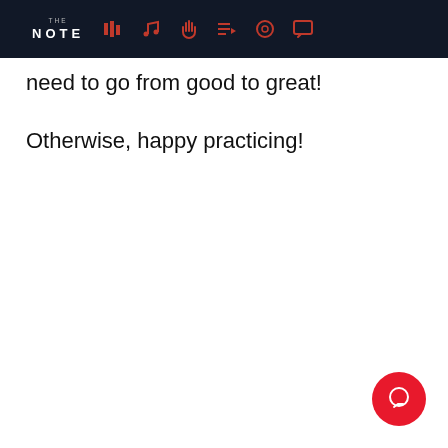THE NOTE [navigation icons: bars, music note, hand, playlist, record, chat]
need to go from good to great!
Otherwise, happy practicing!